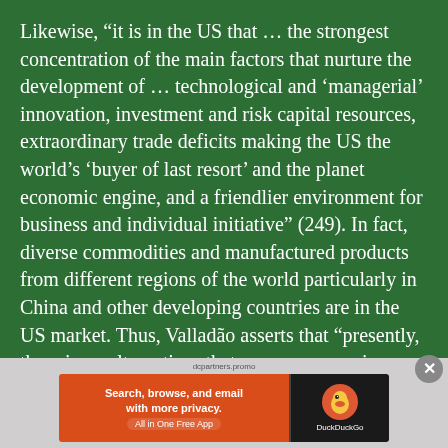Likewise, “it is in the US that … the strongest concentration of the main factors that nurture the development of … technological and ‘managerial’ innovation, investment and risk capital resources, extraordinary trade deficits making the US the world’s ‘buyer of last resort’ and the planet economic engine, and a friendlier environment for business and individual initiative” (249). In fact, diverse commodities and manufactured products from different regions of the world particularly in China and other developing countries are in the US market. Thus, Valladão asserts that “presently, there is no alternatives that pursue economic prosperity and influence in international affairs, than the participation in the hegemony of
[Figure (screenshot): DuckDuckGo advertisement banner: orange left side with text 'Search, browse, and email with more privacy. All in One Free App', dark right side with DuckDuckGo logo and name]